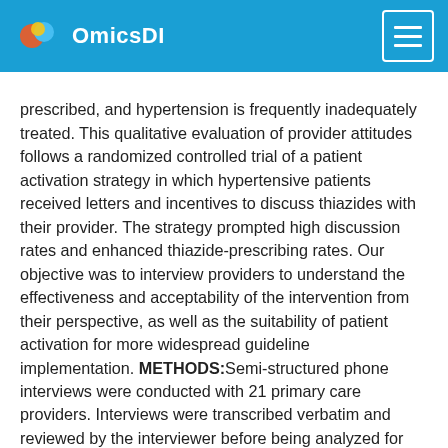OmicsDI
prescribed, and hypertension is frequently inadequately treated. This qualitative evaluation of provider attitudes follows a randomized controlled trial of a patient activation strategy in which hypertensive patients received letters and incentives to discuss thiazides with their provider. The strategy prompted high discussion rates and enhanced thiazide-prescribing rates. Our objective was to interview providers to understand the effectiveness and acceptability of the intervention from their perspective, as well as the suitability of patient activation for more widespread guideline implementation. METHODS:Semi-structured phone interviews were conducted with 21 primary care providers. Interviews were transcribed verbatim and reviewed by the interviewer before being analyzed for content. Interviews were coded, and relevant themes and specific responses were identified, grouped, and compared. RESULTS:Of the 21 providers interviewed, 20 (95%) had a positive opinion of the intervention, and 18 of 20 (90%) thought the strategy was suitable for wider use. In explaining their opinions of the intervention, many providers